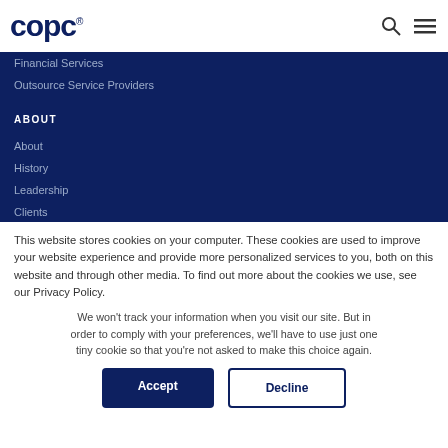copc
Financial Services
Outsource Service Providers
ABOUT
About
History
Leadership
Clients
Careers
This website stores cookies on your computer. These cookies are used to improve your website experience and provide more personalized services to you, both on this website and through other media. To find out more about the cookies we use, see our Privacy Policy.
We won't track your information when you visit our site. But in order to comply with your preferences, we'll have to use just one tiny cookie so that you're not asked to make this choice again.
Accept
Decline